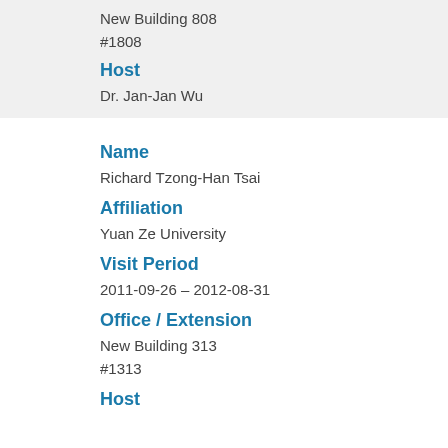New Building 808
#1808
Host
Dr. Jan-Jan Wu
Name
Richard Tzong-Han Tsai
Affiliation
Yuan Ze University
Visit Period
2011-09-26 – 2012-08-31
Office / Extension
New Building 313
#1313
Host